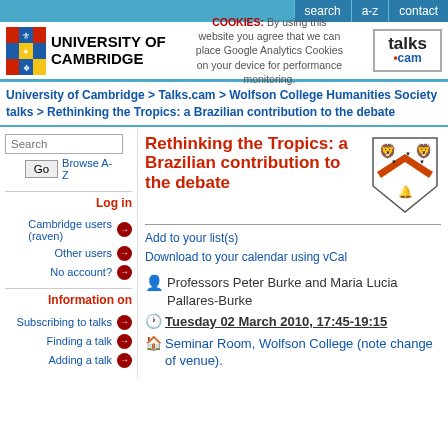search | a-z | contact
[Figure (logo): University of Cambridge logo with coat of arms and text]
COOKIES: By using this website you agree that we can place Google Analytics Cookies on your device for performance monitoring.
[Figure (logo): talks.cam logo]
University of Cambridge > Talks.cam > Wolfson College Humanities Society talks > Rethinking the Tropics: a Brazilian contribution to the debate
Rethinking the Tropics: a Brazilian contribution to the debate
[Figure (illustration): Wolfson College shield/crest with orange chevron and lions]
Add to your list(s)
Download to your calendar using vCal
Professors Peter Burke and Maria Lucia Pallares-Burke
Tuesday 02 March 2010, 17:45-19:15
Seminar Room, Wolfson College (note change of venue).
Search
Go | Browse A-Z
Log in
Cambridge users (raven)
Other users
No account?
Information on
Subscribing to talks
Finding a talk
Adding a talk